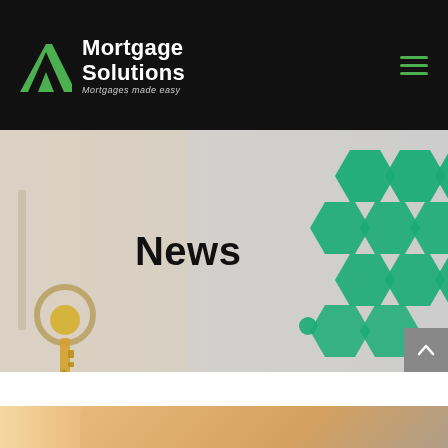Mortgage Solutions — Mortgages made easy
[Figure (photo): Hero banner with a key with a house keychain on the left, green hexagon pattern on the right, and the word 'News' in bold black text in the center]
News
[Figure (photo): Partial bottom strip showing people moving boxes, warm toned background]